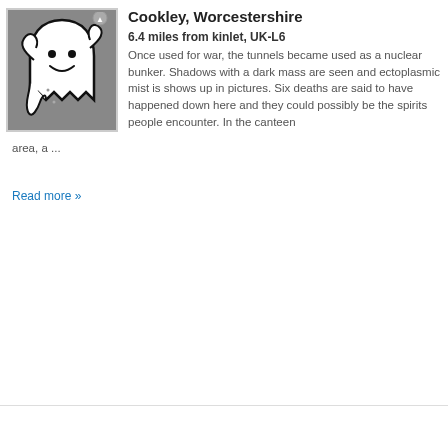[Figure (illustration): Ghost cartoon illustration — white ghost shape with smiley face on grey background, inside a light grey border frame]
Cookley, Worcestershire
6.4 miles from kinlet, UK-L6
Once used for war, the tunnels became used as a nuclear bunker. Shadows with a dark mass are seen and ectoplasmic mist is shows up in pictures. Six deaths are said to have happened down here and they could possibly be the spirits people encounter. In the canteen area, a ...
Read more »